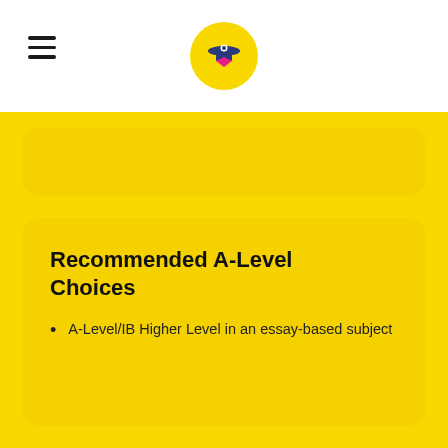Recommended A-Level Choices
A-Level/IB Higher Level in an essay-based subject